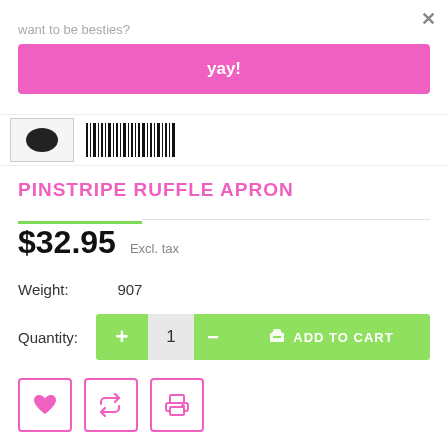want to be besties?
yay!
[Figure (screenshot): Product thumbnail image and barcode lines]
PINSTRIPE RUFFLE APRON
$32.95 Excl. tax
Weight: 907
Quantity: 1  ADD TO CART
[Figure (other): Action icon buttons: heart (wishlist), retweet (share), printer (print)]